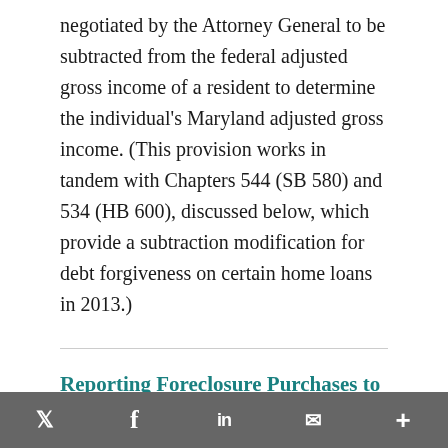negotiated by the Attorney General to be subtracted from the federal adjusted gross income of a resident to determine the individual's Maryland adjusted gross income. (This provision works in tandem with Chapters 544 (SB 580) and 534 (HB 600), discussed below, which provide a subtraction modification for debt forgiveness on certain home loans in 2013.)
Reporting Foreclosure Purchases to the SDAT
Twitter Facebook LinkedIn Email More